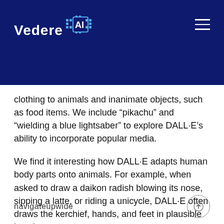Vedere AI
clothing to animals and inanimate objects, such as food items. We include “pikachu” and “wielding a blue lightsaber” to explore DALL·E’s ability to incorporate popular media.
We find it interesting how DALL·E adapts human body parts onto animals. For example, when asked to draw a daikon radish blowing its nose, sipping a latte, or riding a unicycle, DALL·E often draws the kerchief, hands, and feet in plausible locations.
navigateupwide